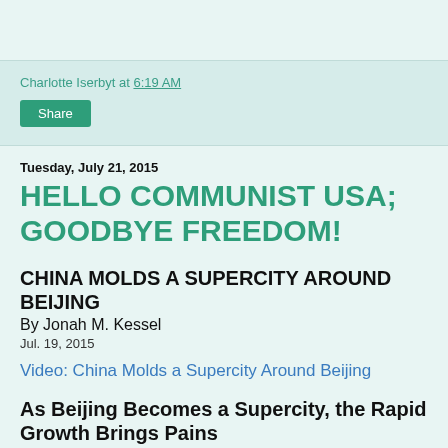Charlotte Iserbyt at 6:19 AM
Share
Tuesday, July 21, 2015
HELLO COMMUNIST USA; GOODBYE FREEDOM!
CHINA MOLDS A SUPERCITY AROUND BEIJING
By Jonah M. Kessel
Jul. 19, 2015
Video: China Molds a Supercity Around Beijing
As Beijing Becomes a Supercity, the Rapid Growth Brings Pains
By IAN JOHNSONJULY